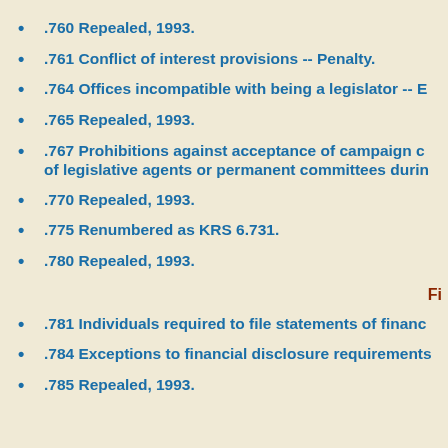.760 Repealed, 1993.
.761 Conflict of interest provisions -- Penalty.
.764 Offices incompatible with being a legislator -- E
.765 Repealed, 1993.
.767 Prohibitions against acceptance of campaign c of legislative agents or permanent committees durin
.770 Repealed, 1993.
.775 Renumbered as KRS 6.731.
.780 Repealed, 1993.
Fi
.781 Individuals required to file statements of financ
.784 Exceptions to financial disclosure requirements
.785 Repealed, 1993.